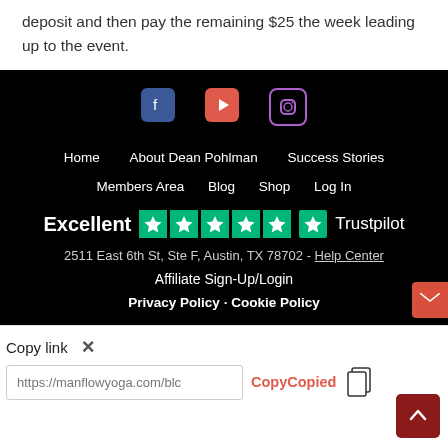deposit and then pay the remaining $25 the week leading up to the event.
[Figure (screenshot): Website footer on black background with social media icons (Facebook, YouTube, Instagram), navigation links (Home, About Dean Pohlman, Success Stories, Members Area, Blog, Shop, Log In), Trustpilot Excellent rating with 5 stars, address 2511 East 6th St, Ste F, Austin, TX 78702, Help Center link, Affiliate Sign-Up/Login, Privacy Policy and Cookie Policy links, and a red email button.]
Copy link ×
https://manflowyoga.com/blc
CopyCopied